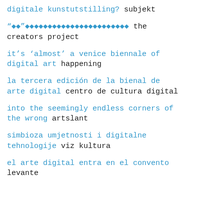digitale kunstutstilling? subjekt
“◆◆”◆◆◆◆◆◆◆◆◆◆◆◆◆◆◆◆◆◆◆◆◆◆ the creators project
it’s ‘almost’ a venice biennale of digital art happening
la tercera edición de la bienal de arte digital centro de cultura digital
into the seemingly endless corners of the wrong artslant
simbioza umjetnosti i digitalne tehnologije viz kultura
el arte digital entra en el convento levante